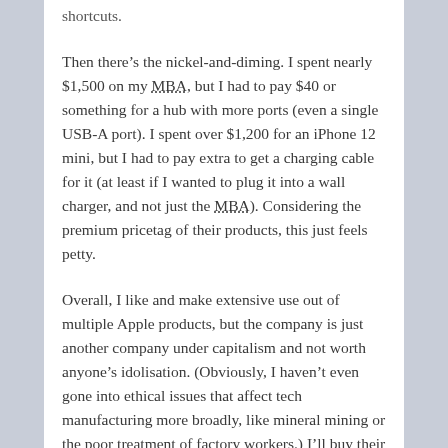shortcuts.
Then there’s the nickel-and-diming. I spent nearly $1,500 on my MBA, but I had to pay $40 or something for a hub with more ports (even a single USB-A port). I spent over $1,200 for an iPhone 12 mini, but I had to pay extra to get a charging cable for it (at least if I wanted to plug it into a wall charger, and not just the MBA). Considering the premium pricetag of their products, this just feels petty.
Overall, I like and make extensive use out of multiple Apple products, but the company is just another company under capitalism and not worth anyone’s idolisation. (Obviously, I haven’t even gone into ethical issues that affect tech manufacturing more broadly, like mineral mining or the poor treatment of factory workers.) I’ll buy their products as long as they’re the best fit for my